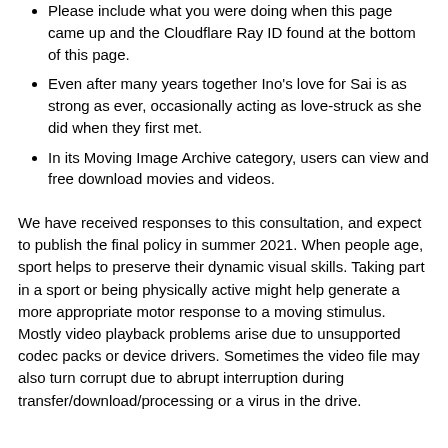Please include what you were doing when this page came up and the Cloudflare Ray ID found at the bottom of this page.
Even after many years together Ino's love for Sai is as strong as ever, occasionally acting as love-struck as she did when they first met.
In its Moving Image Archive category, users can view and free download movies and videos.
We have received responses to this consultation, and expect to publish the final policy in summer 2021. When people age, sport helps to preserve their dynamic visual skills. Taking part in a sport or being physically active might help generate a more appropriate motor response to a moving stimulus. Mostly video playback problems arise due to unsupported codec packs or device drivers. Sometimes the video file may also turn corrupt due to abrupt interruption during transfer/download/processing or a virus in the drive.